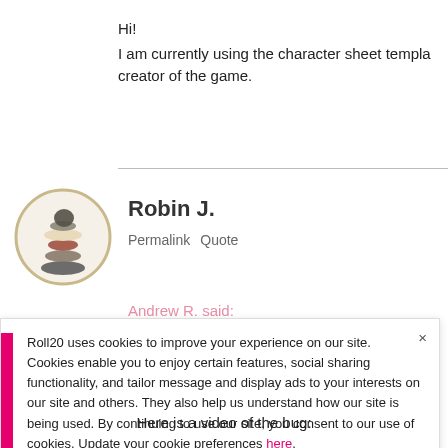Hi!
I am currently using the character sheet template creator of the game.
Robin J.
Permalink   Quote
Andrew R. said:
Roll20 uses cookies to improve your experience on our site. Cookies enable you to enjoy certain features, social sharing functionality, and tailor message and display ads to your interests on our site and others. They also help us understand how our site is being used. By continuing to use our site, you consent to our use of cookies. Update your cookie preferences here.
Here is a video of the bug: